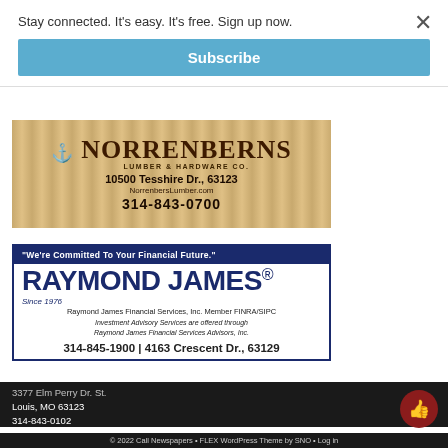Stay connected. It's easy. It's free. Sign up now.
Subscribe
[Figure (illustration): Norrenberns Lumber & Hardware Co. advertisement. Shows logo with lumber imagery, address 10500 Tesshire Dr., 63123, website NorrenbersLumber.com, phone 314-843-0700.]
[Figure (illustration): Raymond James advertisement. Tagline: We're Committed To Your Financial Future. Raymond James Financial Services, Inc. Member FINRA/SIPC. Investment Advisory Services are offered through Raymond James Financial Services Advisors, Inc. Phone: 314-845-1900 | 4163 Crescent Dr., 63129]
3377 Elm Perry Dr. St. Louis, MO 63123 314-843-0102
© 2022 Call Newspapers • FLEX WordPress Theme by SNO • Log in